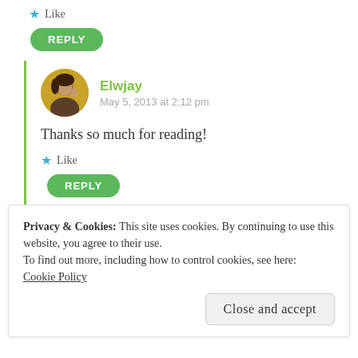★ Like
REPLY
Elwjay
May 5, 2013 at 2:12 pm
Thanks so much for reading!
★ Like
REPLY
Privacy & Cookies: This site uses cookies. By continuing to use this website, you agree to their use.
To find out more, including how to control cookies, see here:
Cookie Policy
Close and accept